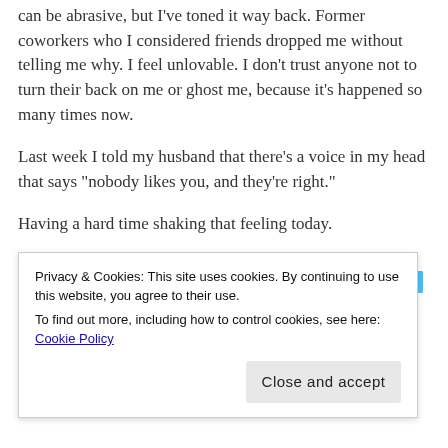can be abrasive, but I've toned it way back. Former coworkers who I considered friends dropped me without telling me why. I feel unlovable. I don't trust anyone not to turn their back on me or ghost me, because it's happened so many times now.
Last week I told my husband that there's a voice in my head that says “nobody likes you, and they're right.”
Having a hard time shaking that feeling today.
Advertisements
Privacy & Cookies: This site uses cookies. By continuing to use this website, you agree to their use.
To find out more, including how to control cookies, see here: Cookie Policy
Close and accept